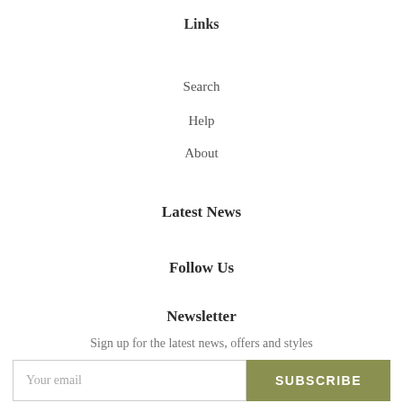Links
Search
Help
About
Latest News
Follow Us
Newsletter
Sign up for the latest news, offers and styles
Your email  SUBSCRIBE